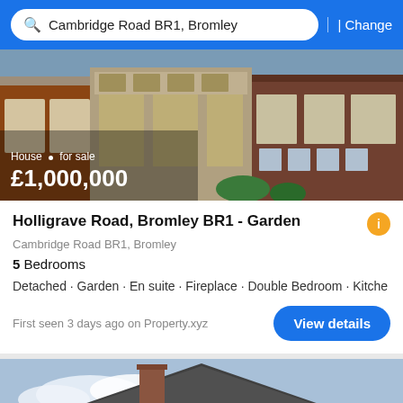Cambridge Road BR1, Bromley | Change
[Figure (photo): Exterior photo of a row of houses including red brick and decorated facade, with overlay text showing House for sale £1,000,000]
House · for sale
£1,000,000
Holligrave Road, Bromley BR1 - Garden
Cambridge Road BR1, Bromley
5 Bedrooms
Detached · Garden · En suite · Fireplace · Double Bedroom · Kitche
First seen 3 days ago on Property.xyz
[Figure (photo): Exterior photo of a large detached red brick house with a prominent chimney and garage, with a Filter button overlay and 17 pictures badge]